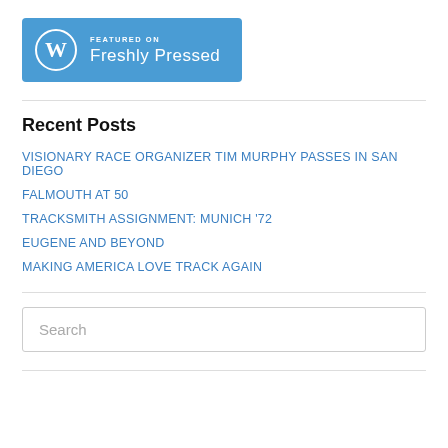[Figure (logo): WordPress 'Featured on Freshly Pressed' badge with blue background and WordPress logo]
Recent Posts
VISIONARY RACE ORGANIZER TIM MURPHY PASSES IN SAN DIEGO
FALMOUTH AT 50
TRACKSMITH ASSIGNMENT: MUNICH '72
EUGENE AND BEYOND
MAKING AMERICA LOVE TRACK AGAIN
Search